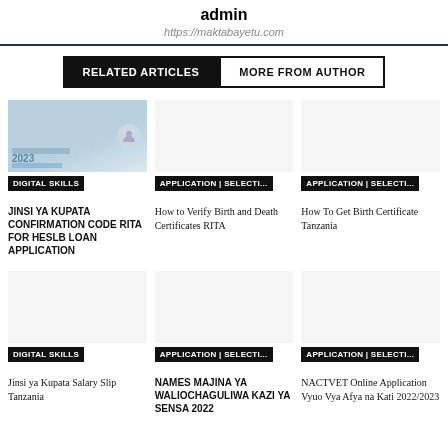admin
https://maktabayetu.com
RELATED ARTICLES | MORE FROM AUTHOR
[Figure (screenshot): Thumbnail image for JINSI YA KUPATA CONFIRMATION CODE RITA FOR HESLB LOAN APPLICATION article, showing a document screenshot with blue highlights]
DIGITAL SKILLS
JINSI YA KUPATA CONFIRMATION CODE RITA FOR HESLB LOAN APPLICATION
[Figure (photo): Thumbnail placeholder for How to Verify Birth and Death Certificates RITA article]
APPLICATION | SELECTI...
How to Verify Birth and Death Certificates RITA
[Figure (photo): Thumbnail placeholder for How To Get Birth Certificate Tanzania article]
APPLICATION | SELECTI...
How To Get Birth Certificate Tanzania
[Figure (photo): Thumbnail placeholder for Jinsi ya Kupata Salary Slip Tanzania article]
DIGITAL SKILLS
Jinsi ya Kupata Salary Slip Tanzania
[Figure (photo): Thumbnail placeholder for NAMES MAJINA YA WALIOCHAGULIWA KAZI YA SENSA 2022 article]
APPLICATION | SELECTI...
NAMES MAJINA YA WALIOCHAGULIWA KAZI YA SENSA 2022
[Figure (photo): Thumbnail placeholder for NACTVET Online Application Vyuo Vya Afya na Kati 2022/2023 article]
APPLICATION | SELECTI...
NACTVET Online Application Vyuo Vya Afya na Kati 2022/2023